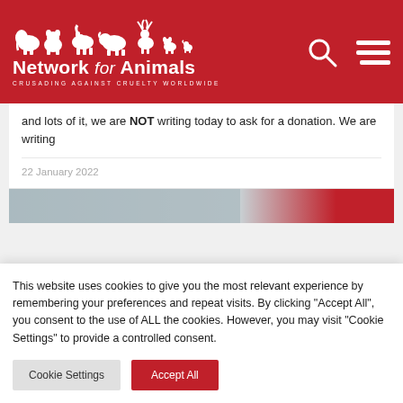[Figure (logo): Network for Animals logo with white animal silhouettes on red background, text 'Network for Animals', tagline 'CRUSADING AGAINST CRUELTY WORLDWIDE']
and lots of it, we are NOT writing today to ask for a donation. We are writing
22 January 2022
[Figure (photo): Partial view of an article image with a red button visible]
This website uses cookies to give you the most relevant experience by remembering your preferences and repeat visits. By clicking "Accept All", you consent to the use of ALL the cookies. However, you may visit "Cookie Settings" to provide a controlled consent.